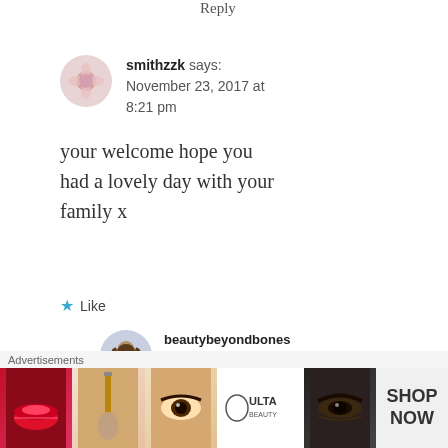Reply
smithzzk says:
November 23, 2017 at 8:21 pm
your welcome hope you had a lovely day with your family x
★ Like
beautybeyondbones says:
November 23, 2017 at 8:31 pm
[Figure (photo): Advertisement banner for ULTA beauty products showing lips, makeup brushes, eyes, ULTA logo, and SHOP NOW text]
Advertisements